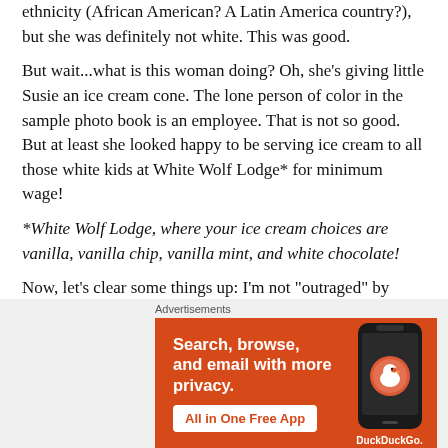ethnicity (African American? A Latin America country?), but she was definitely not white. This was good.
But wait...what is this woman doing? Oh, she’s giving little Susie an ice cream cone. The lone person of color in the sample photo book is an employee. That is not so good. But at least she looked happy to be serving ice cream to all those white kids at White Wolf Lodge* for minimum wage!
*White Wolf Lodge, where your ice cream choices are vanilla, vanilla chip, vanilla mint, and white chocolate!
Now, let’s clear some things up: I’m not “outraged” by
[Figure (infographic): DuckDuckGo advertisement banner. Orange background with white text reading 'Search, browse, and email with more privacy.' and 'All in One Free App' button. Phone mockup with DuckDuckGo logo on the right.]